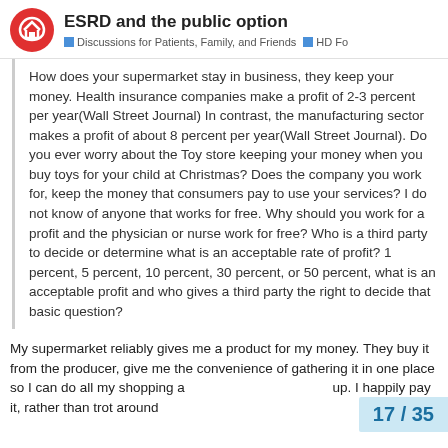ESRD and the public option — Discussions for Patients, Family, and Friends — HD Fo
How does your supermarket stay in business, they keep your money. Health insurance companies make a profit of 2-3 percent per year(Wall Street Journal) In contrast, the manufacturing sector makes a profit of about 8 percent per year(Wall Street Journal). Do you ever worry about the Toy store keeping your money when you buy toys for your child at Christmas? Does the company you work for, keep the money that consumers pay to use your services? I do not know of anyone that works for free. Why should you work for a profit and the physician or nurse work for free? Who is a third party to decide or determine what is an acceptable rate of profit? 1 percent, 5 percent, 10 percent, 30 percent, or 50 percent, what is an acceptable profit and who gives a third party the right to decide that basic question?
My supermarket reliably gives me a product for my money. They buy it from the producer, give me the convenience of gathering it in one place so I can do all my shopping a up. I happily pay it, rather than trot around